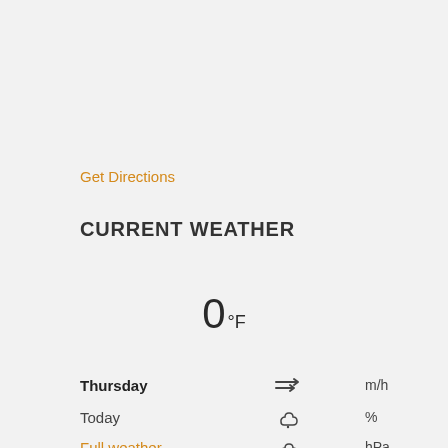Get Directions
CURRENT WEATHER
0°F
Thursday
Today
Full weather
[Figure (infographic): Weather icons: wind (arrows right), rain drop with cloud, upload cloud, partial cloud, umbrella]
m/h
%
hPa
%
0 mm